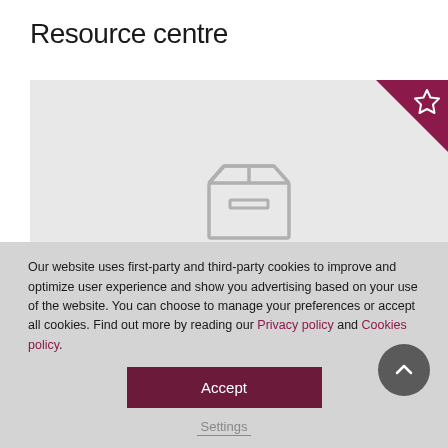Resource centre
[Figure (illustration): A placeholder image area with a grey background, a bookmark/star badge in the top-right corner in dark red/maroon, and a grey box/package icon in the center.]
Our website uses first-party and third-party cookies to improve and optimize user experience and show you advertising based on your use of the website. You can choose to manage your preferences or accept all cookies. Find out more by reading our Privacy policy and Cookies policy.
Accept
Settings